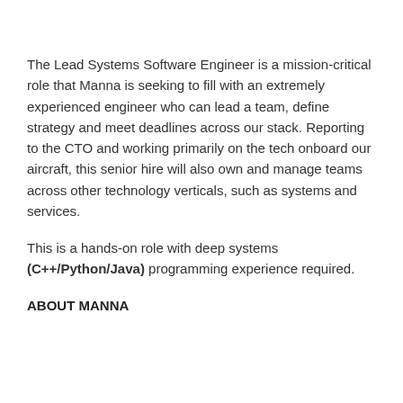The Lead Systems Software Engineer is a mission-critical role that Manna is seeking to fill with an extremely experienced engineer who can lead a team, define strategy and meet deadlines across our stack. Reporting to the CTO and working primarily on the tech onboard our aircraft, this senior hire will also own and manage teams across other technology verticals, such as systems and services.
This is a hands-on role with deep systems (C++/Python/Java) programming experience required.
ABOUT MANNA